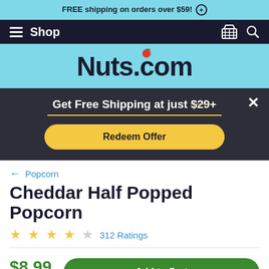FREE shipping on orders over $59! +
[Figure (screenshot): Navigation bar with hamburger menu, Shop label, cart icon, and search icon on dark background]
[Figure (logo): Nuts.com logo with apple in the 'o' on light blue background]
Get Free Shipping at just $29+
Redeem Offer
← Popcorn
Cheddar Half Popped Popcorn
312 Ratings
$8.99
Qty: 1
Add to Cart